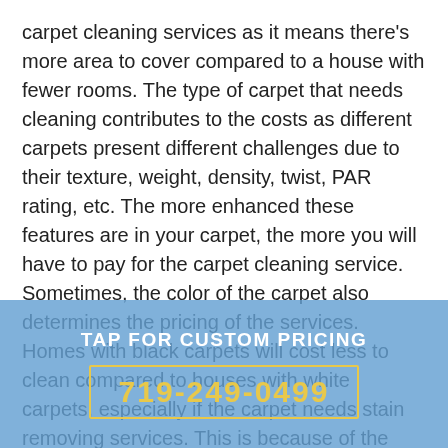carpet cleaning services as it means there's more area to cover compared to a house with fewer rooms. The type of carpet that needs cleaning contributes to the costs as different carpets present different challenges due to their texture, weight, density, twist, PAR rating, etc. The more enhanced these features are in your carpet, the more you will have to pay for the carpet cleaning service. Sometimes, the color of the carpet also determines the pricing of the services. Homes with black carpets will cost less to clean compared to houses with white carpets, especially if the carpet needs stain removing services. This is because of the challenges that the different colors offer. Getting a white-colored carpet back to its original color is usually tougher compared to other colors. Along with stain removing, you may need water extraction if you've recently experienced a leak in your home.
TAP FOR CUSTOM PRICING
719-249-0499